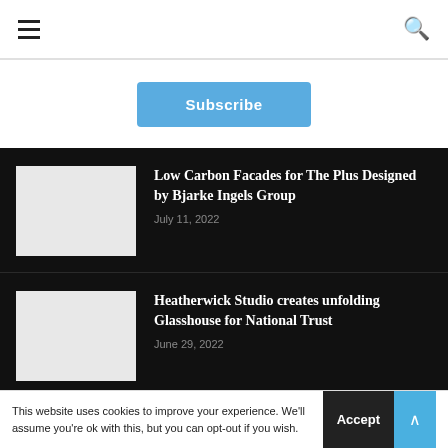Navigation bar with hamburger menu and search icon
Subscribe
Low Carbon Facades for The Plus Designed by Bjarke Ingels Group — July 11, 2022
Heatherwick Studio creates unfolding Glasshouse for National Trust — June 29, 2022
This website uses cookies to improve your experience. We'll assume you're ok with this, but you can opt-out if you wish.